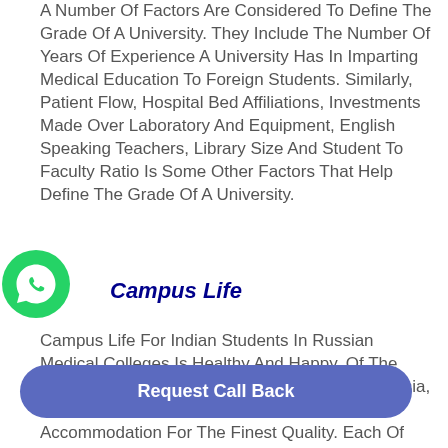A Number Of Factors Are Considered To Define The Grade Of A University. They Include The Number Of Years Of Experience A University Has In Imparting Medical Education To Foreign Students. Similarly, Patient Flow, Hospital Bed Affiliations, Investments Made Over Laboratory And Equipment, English Speaking Teachers, Library Size And Student To Faculty Ratio Is Some Other Factors That Help Define The Grade Of A University.
[Figure (logo): WhatsApp green circle icon with white phone handset]
Campus Life
Campus Life For Indian Students In Russian Medical Colleges Is Healthy And Happy. Of The 4,500 Indian Students Currently Studying In Russia, 80% Are Medical Students. Infrastructure And Accommodation For The [finest Quality. Each Of The Facilities Is Made Available At Subsidized
Request Call Back